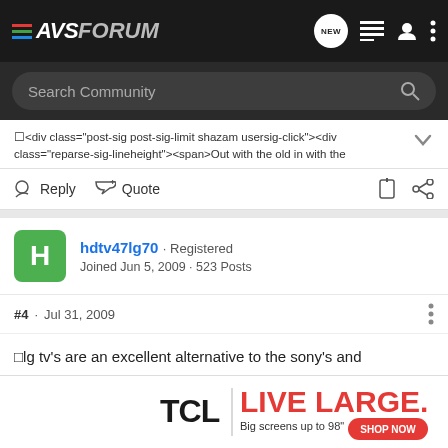AVSForum
Search Community
<div class="post-sig post-sig-limit shazam usersig-click"><div class="reparse-sig-lineheight"><span>Out with the old in with the
Reply  Quote
hdtv47lg70 · Registered
Joined Jun 5, 2009 · 523 Posts
#4 · Jul 31, 2009
lg tv's are an excellent alternative to the sony's and samsungs.
go look at an lg tv on the same setting as a sony, samsung etc.. and tell
[Figure (other): TCL advertisement banner: TCL | LIVE LARGE. Big screens up to 98" SHOP NOW]